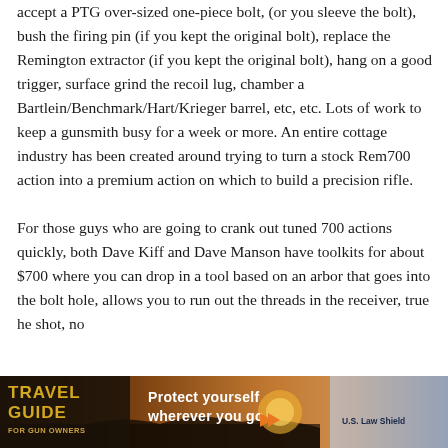accept a PTG over-sized one-piece bolt, (or you sleeve the bolt), bush the firing pin (if you kept the original bolt), replace the Remington extractor (if you kept the original bolt), hang on a good trigger, surface grind the recoil lug, chamber a Bartlein/Benchmark/Hart/Krieger barrel, etc, etc. Lots of work to keep a gunsmith busy for a week or more. An entire cottage industry has been created around trying to turn a stock Rem700 action into a premium action on which to build a precision rifle.

For those guys who are going to crank out tuned 700 actions quickly, both Dave Kiff and Dave Manson have toolkits for about $700 where you can drop in a tool based on an arbor that goes into the bolt hole, allows you to run out the threads in the receiver, true he shot, no
[Figure (other): Advertisement banner for Travel Guide for Gun Owners featuring 'Protect yourself wherever you go.' with U.S. LawShield branding and play button icons over a scenic sunset image.]